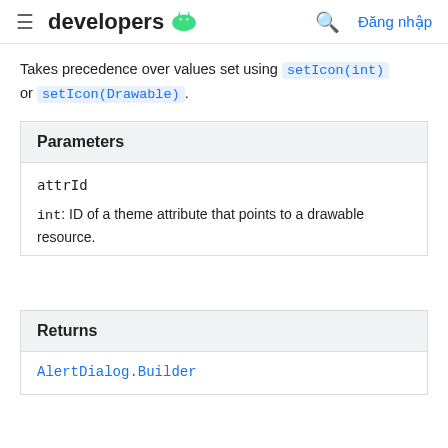≡ developers [android] 🔍 Đăng nhập
Takes precedence over values set using setIcon(int) or setIcon(Drawable).
| Parameters |
| --- |
| attrId | int: ID of a theme attribute that points to a drawable resource. |
| Returns |
| --- |
| AlertDialog.Builder |